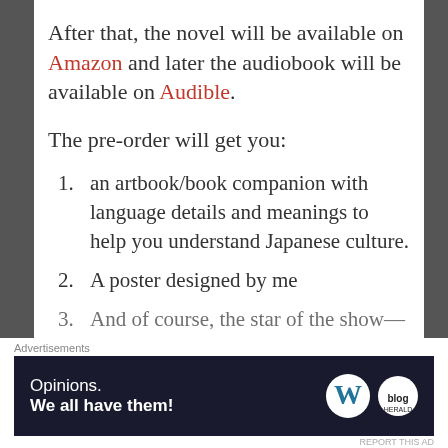After that, the novel will be available on Amazon and later the audiobook will be available on Audible.
The pre-order will get you:
1. an artbook/book companion with language details and meanings to help you understand Japanese culture.
2. A poster designed by me
3. And of course, the star of the show—
Advertisements
[Figure (other): WordPress/Blog Herald advertisement banner: 'Opinions. We all have them!' with WordPress W logo and Blog Herald circular logo on dark background.]
REPORT THIS AD